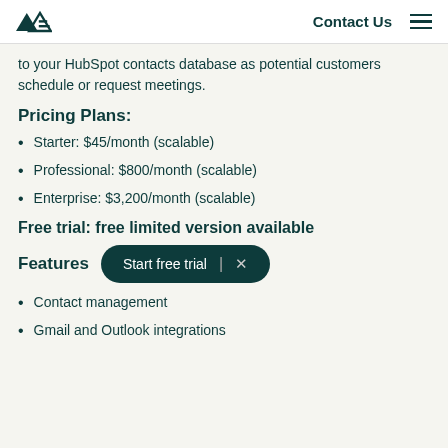Zendesk logo | Contact Us | Menu
to your HubSpot contacts database as potential customers schedule or request meetings.
Pricing Plans:
Starter: $45/month (scalable)
Professional: $800/month (scalable)
Enterprise: $3,200/month (scalable)
Free trial: free limited version available
Features
Contact management
Gmail and Outlook integrations